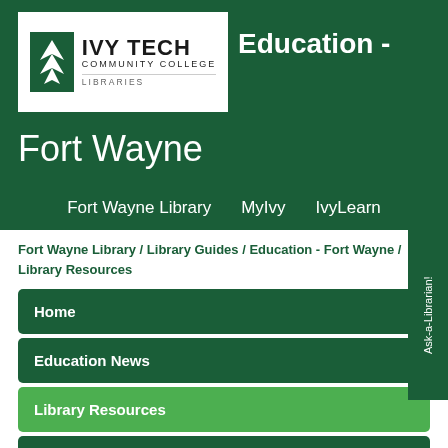[Figure (logo): Ivy Tech Community College Libraries logo with green leaf icon and text]
Education - Fort Wayne
Fort Wayne Library   MyIvy   IvyLearn
Fort Wayne Library / Library Guides / Education - Fort Wayne / Library Resources
Home
Education News
Library Resources
Tools for Teachers
Faculty Resources